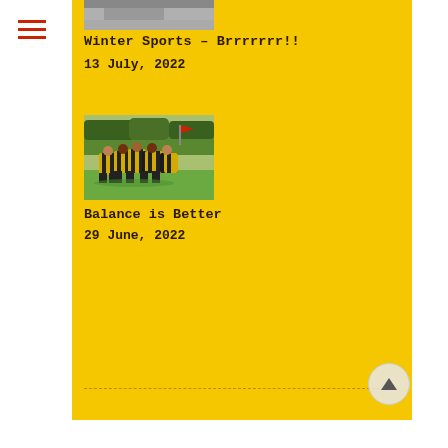[Figure (photo): Partial image of what appears to be winter sports scene (cropped at top)]
Winter Sports – Brrrrrrr!!
13 July, 2022
[Figure (photo): Rugby players in yellow and black striped jerseys in a scrum or huddle on a grass field]
Balance is Better
29 June, 2022